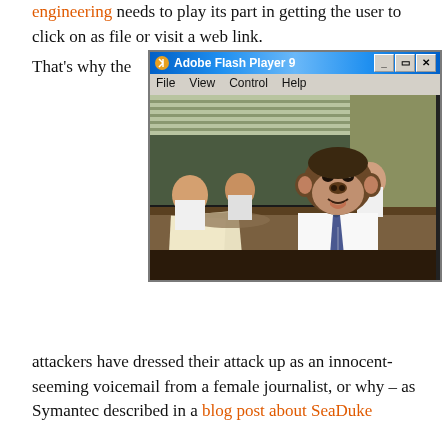engineering needs to play its part in getting the user to click on as file or visit a web link.
That's why the
[Figure (screenshot): Screenshot of Adobe Flash Player 9 window showing a video of a chimpanzee dressed in a white shirt and tie sitting at an office desk with other people in the background]
attackers have dressed their attack up as an innocent-seeming voicemail from a female journalist, or why – as Symantec described in a blog post about SeaDuke